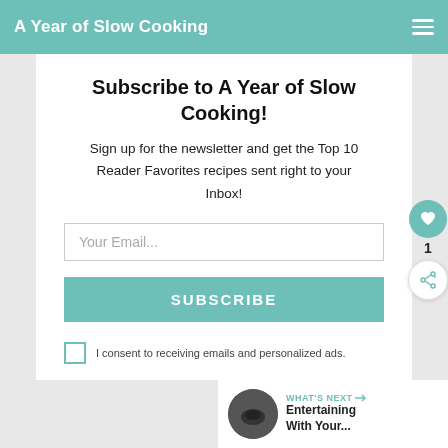A Year of Slow Cooking
Subscribe to A Year of Slow Cooking!
Sign up for the newsletter and get the Top 10 Reader Favorites recipes sent right to your Inbox!
Your Email...
SUBSCRIBE
I consent to receiving emails and personalized ads.
1
WHAT'S NEXT → Entertaining With Your...